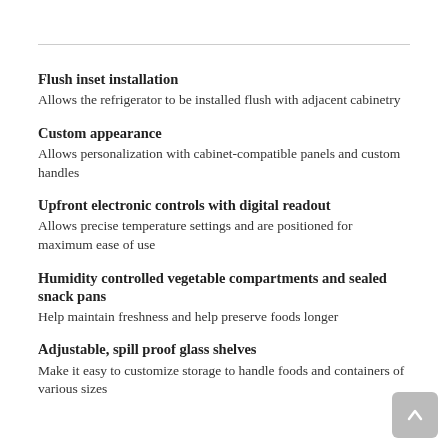Flush inset installation
Allows the refrigerator to be installed flush with adjacent cabinetry
Custom appearance
Allows personalization with cabinet-compatible panels and custom handles
Upfront electronic controls with digital readout
Allows precise temperature settings and are positioned for maximum ease of use
Humidity controlled vegetable compartments and sealed snack pans
Help maintain freshness and help preserve foods longer
Adjustable, spill proof glass shelves
Make it easy to customize storage to handle foods and containers of various sizes